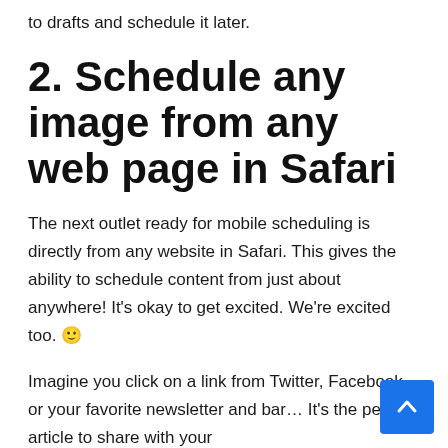to drafts and schedule it later.
2. Schedule any image from any web page in Safari
The next outlet ready for mobile scheduling is directly from any website in Safari. This gives the ability to schedule content from just about anywhere! It's okay to get excited. We're excited too. 🙂
Imagine you click on a link from Twitter, Facebook or your favorite newsletter and bar… It's the perfect article to share with your